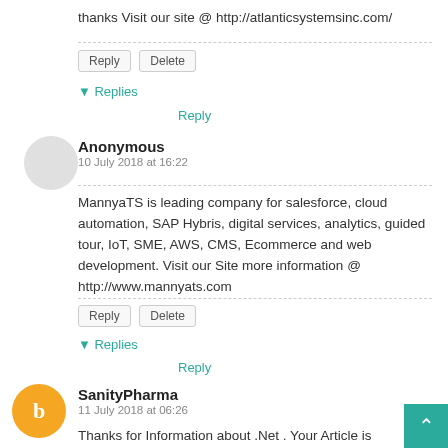thanks Visit our site @ http://atlanticsystemsinc.com/
Reply | Delete
▼ Replies
Reply
Anonymous
10 July 2018 at 16:22
MannyaTS is leading company for salesforce, cloud automation, SAP Hybris, digital services, analytics, guided tour, IoT, SME, AWS, CMS, Ecommerce and web development. Visit our Site more information @ http://www.mannyats.com
Reply | Delete
▼ Replies
Reply
SanityPharma
11 July 2018 at 06:26
Thanks for Information about .Net . Your Article is impressive and very informative. I am now regular visitor of your website and bookmarked it.